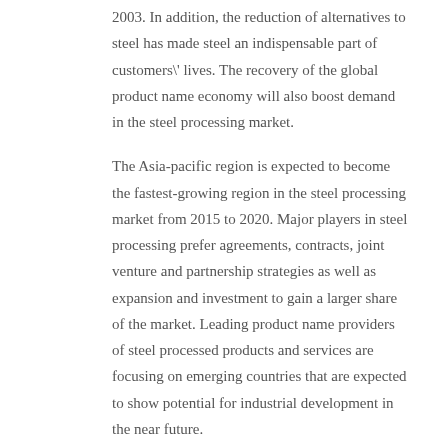2003. In addition, the reduction of alternatives to steel has made steel an indispensable part of customers' lives. The recovery of the global product name economy will also boost demand in the steel processing market.
The Asia-pacific region is expected to become the fastest-growing region in the steel processing market from 2015 to 2020. Major players in steel processing prefer agreements, contracts, joint venture and partnership strategies as well as expansion and investment to gain a larger share of the market. Leading product name providers of steel processed products and services are focusing on emerging countries that are expected to show potential for industrial development in the near future.
Metal and Steel Processing Industry - Future planning of